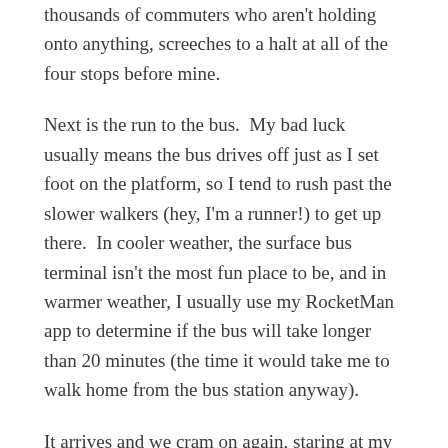thousands of commuters who aren't holding onto anything, screeches to a halt at all of the four stops before mine.
Next is the run to the bus.  My bad luck usually means the bus drives off just as I set foot on the platform, so I tend to rush past the slower walkers (hey, I'm a runner!) to get up there.  In cooler weather, the surface bus terminal isn't the most fun place to be, and in warmer weather, I usually use my RocketMan app to determine if the bus will take longer than 20 minutes (the time it would take me to walk home from the bus station anyway).
It arrives and we cram on again, staring at my iPhone screen and feeling slightly nauseous as we turn corners and people's body heat warms up the small space.  35